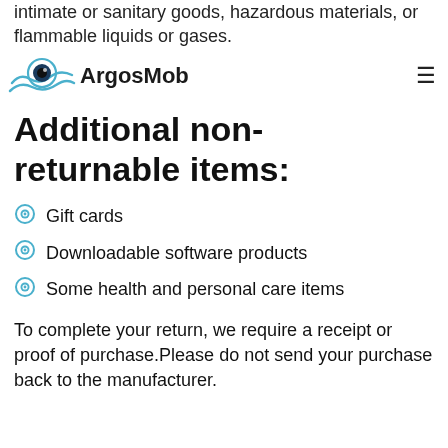intimate or sanitary goods, hazardous materials, or flammable liquids or gases.
[Figure (logo): ArgosMob logo with an eye icon and blue wave, company name ArgosMob]
Additional non-returnable items:
Gift cards
Downloadable software products
Some health and personal care items
To complete your return, we require a receipt or proof of purchase.Please do not send your purchase back to the manufacturer.